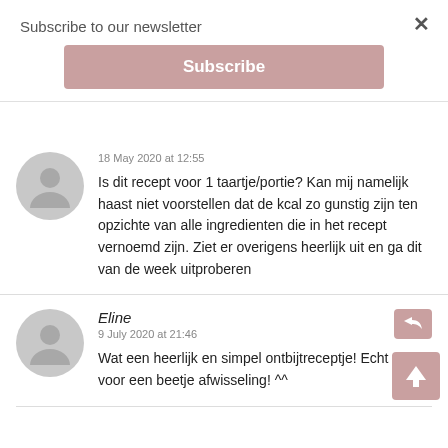Subscribe to our newsletter
Subscribe
18 May 2020 at 12:55
Is dit recept voor 1 taartje/portie? Kan mij namelijk haast niet voorstellen dat de kcal zo gunstig zijn ten opzichte van alle ingredienten die in het recept vernoemd zijn. Ziet er overigens heerlijk uit en ga dit van de week uitproberen
Eline
9 July 2020 at 21:46
Wat een heerlijk en simpel ontbijtreceptje! Echt top voor een beetje afwisseling! ^^